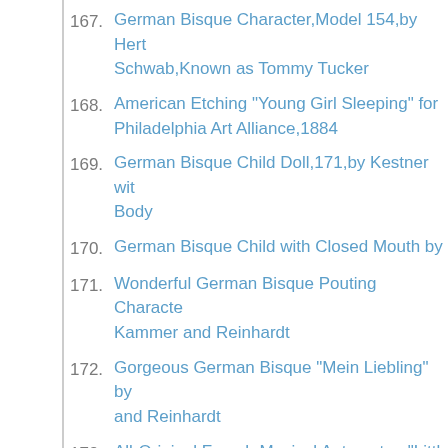167. German Bisque Character,Model 154,by Hert Schwab,Known as Tommy Tucker
168. American Etching "Young Girl Sleeping" for Philadelphia Art Alliance,1884
169. German Bisque Child Doll,171,by Kestner with Body
170. German Bisque Child with Closed Mouth by
171. Wonderful German Bisque Pouting Character Kammer and Reinhardt
172. Gorgeous German Bisque "Mein Liebling" by and Reinhardt
173. All-Original French Musical Automaton "Little Kitten and Doll" by Leopold Lambert
174. Rare French Musical Automaton "Seated Lady